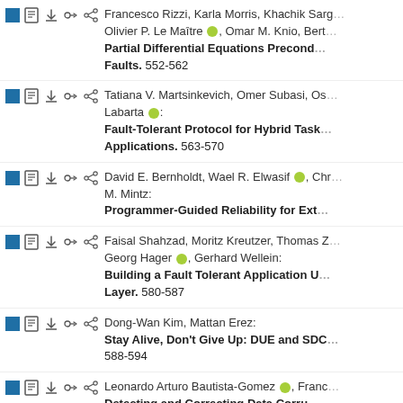Francesco Rizzi, Karla Morris, Khachik Sargsyan, Olivier P. Le Maître, Omar M. Knio, Bert...: Partial Differential Equations Precond... Faults. 552-562
Tatiana V. Martsinkevich, Omer Subasi, Os... Labarta: Fault-Tolerant Protocol for Hybrid Task... Applications. 563-570
David E. Bernholdt, Wael R. Elwasif, Chri... M. Mintz: Programmer-Guided Reliability for Ext...
Faisal Shahzad, Moritz Kreutzer, Thomas Z... Georg Hager, Gerhard Wellein: Building a Fault Tolerant Application U... Layer. 580-587
Dong-Wan Kim, Mattan Erez: Stay Alive, Don't Give Up: DUE and SDC... 588-594
Leonardo Arturo Bautista-Gomez, Franc...: Detecting and Correcting Data Corru...